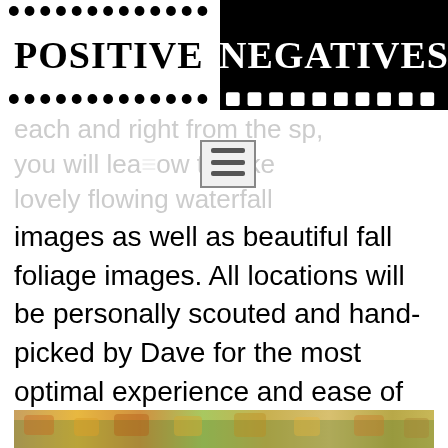[Figure (logo): Positive Negatives logo — film strip style header with 'POSITIVE' in black serif on white left, 'NEGATIVES' in white serif on black right, with dot/sprocket patterns along top and bottom of the strip.]
each and right from the sp, you will learn how to take lovely flowing waterfall
images as well as beautiful fall foliage images. All locations will be personally scouted and hand-picked by Dave for the most optimal experience and ease of average accessibility.
[Figure (photo): Partial view of a fall foliage landscape photograph at the bottom of the page.]